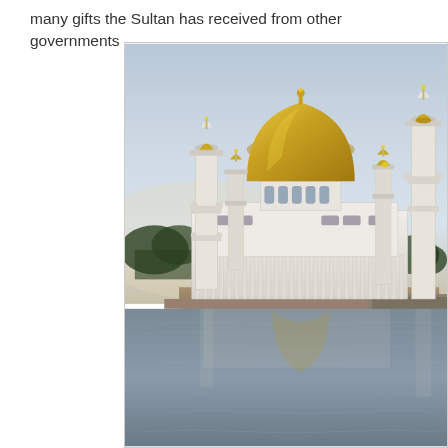many gifts the Sultan has received from other governments.
[Figure (photo): Photograph of a large white mosque with a prominent golden dome, multiple white minarets, and ornate architecture, reflected in the calm water in front of it, taken at dusk or dawn with a pale sky in the background. This appears to be the Omar Ali Saifuddien Mosque in Brunei.]